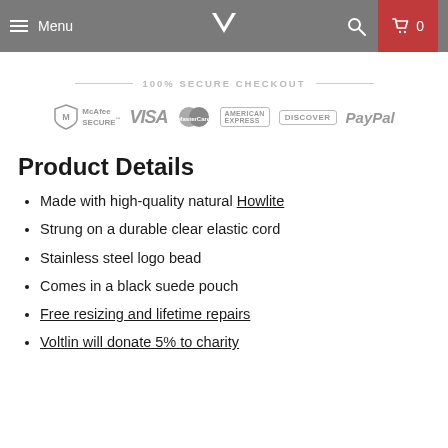Menu | [Logo] | [Search] | Cart 0
100% SECURE CHECKOUT
[Figure (logo): Payment logos row: McAfee SECURE, VISA, MasterCard, American Express, Discover, PayPal]
Product Details
Made with high-quality natural Howlite
Strung on a durable clear elastic cord
Stainless steel logo bead
Comes in a black suede pouch
Free resizing and lifetime repairs
Voltlin will donate 5% to charity